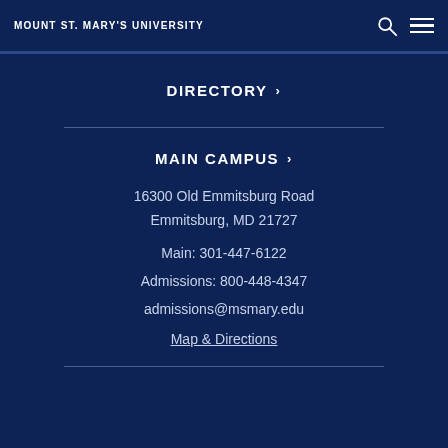MOUNT ST. MARY'S UNIVERSITY
DIRECTORY ›
MAIN CAMPUS ›
16300 Old Emmitsburg Road
Emmitsburg, MD 21727
Main: 301-447-6122
Admissions: 800-448-4347
admissions@msmary.edu
Map & Directions